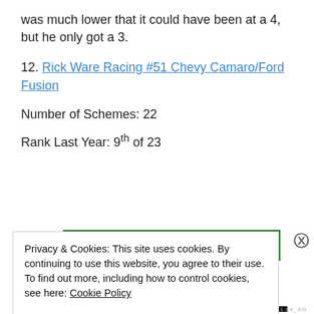was much lower that it could have been at a 4, but he only got a 3.
12. Rick Ware Racing #51 Chevy Camaro/Ford Fusion
Number of Schemes: 22
Rank Last Year: 9th of 23
[Figure (other): Green horizontal bar (partial car livery image)]
Privacy & Cookies: This site uses cookies. By continuing to use this website, you agree to their use.
To find out more, including how to control cookies, see here: Cookie Policy
Close and accept